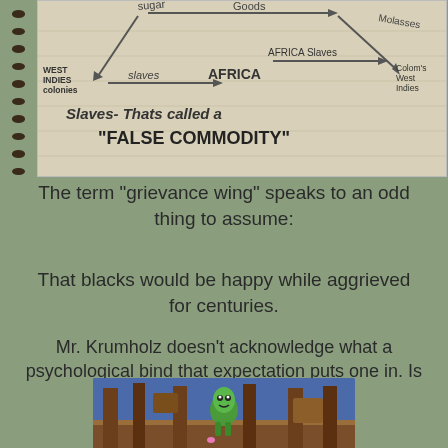[Figure (photo): Notebook page sketch showing a triangle diagram of transatlantic slave trade routes with labels: sugar, goods, slaves, AFRICA, West Indies colonies, Colombia/West Indies, with text 'Slaves- Thats called a FALSE COMMODITY']
The term "grievance wing" speaks to an odd thing to assume:
That blacks would be happy while aggrieved for centuries.
Mr. Krumholz doesn't acknowledge what a psychological bind that expectation puts one in. Is mere "prosperity" King's dream?
[Figure (screenshot): Screenshot of a video game with a green character/monster in a room with brown wooden structures and blue background]